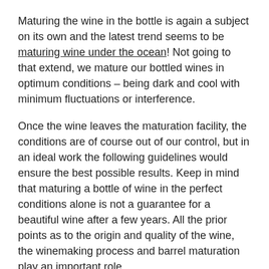Maturing the wine in the bottle is again a subject on its own and the latest trend seems to be maturing wine under the ocean! Not going to that extend, we mature our bottled wines in optimum conditions – being dark and cool with minimum fluctuations or interference.
Once the wine leaves the maturation facility, the conditions are of course out of our control, but in an ideal work the following guidelines would ensure the best possible results. Keep in mind that maturing a bottle of wine in the perfect conditions alone is not a guarantee for a beautiful wine after a few years. All the prior points as to the origin and quality of the wine, the winemaking process and barrel maturation play an important role.
Temperature – ideally around 13°C (50°F). Consistency of temperature is very important, so rather have it a degree or two warmer but without ups and downs. A kitchen is never a good choice.